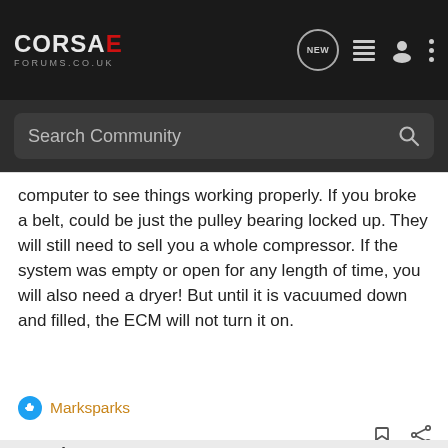CORSAE FORUMS.CO.UK — navigation bar with NEW, list, user, more icons and Search Community search bar
computer to see things working properly. If you broke a belt, could be just the pulley bearing locked up. They will still need to sell you a whole compressor. If the system was empty or open for any length of time, you will also need a dryer! But until it is vacuumed down and filled, the ECM will not turn it on.
Marksparks
1 - 9 of 9 Posts
Join the discussion